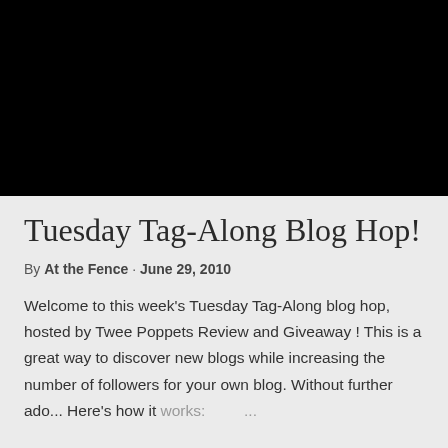[Figure (photo): Black rectangular image area at the top of the page]
Tuesday Tag-Along Blog Hop!
By At the Fence · June 29, 2010
Welcome to this week's Tuesday Tag-Along blog hop, hosted by Twee Poppets Review and Giveaway ! This is a great way to discover new blogs while increasing the number of followers for your own blog. Without further ado... Here's how it works: ...